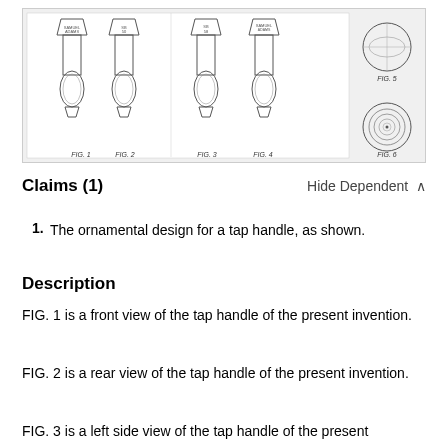[Figure (illustration): Patent drawings of a tap handle shown in multiple views: FIG. 1 (unlabeled front), FIG. 1, FIG. 2, FIG. 3, FIG. 4 showing front/rear/side views of the handle, and FIG. 5 (top circle view) and FIG. 6 (bottom concentric circles view).]
Claims (1)
Hide Dependent
1.   The ornamental design for a tap handle, as shown.
Description
FIG. 1 is a front view of the tap handle of the present invention.
FIG. 2 is a rear view of the tap handle of the present invention.
FIG. 3 is a left side view of the tap handle of the present